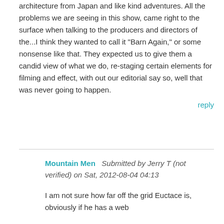architecture from Japan and like kind adventures. All the problems we are seeing in this show, came right to the surface when talking to the producers and directors of the...I think they wanted to call it "Barn Again," or some nonsense like that. They expected us to give them a candid view of what we do, re-staging certain elements for filming and effect, with out our editorial say so, well that was never going to happen.
reply
Mountain Men   Submitted by Jerry T (not verified) on Sat, 2012-08-04 04:13
I am not sure how far off the grid Euctace is, obviously if he has a web